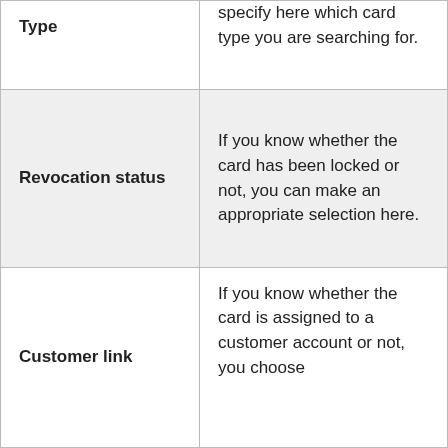| Type | Description |
| --- | --- |
| Type | specify here which card type you are searching for. |
| Revocation status | If you know whether the card has been locked or not, you can make an appropriate selection here. |
| Customer link | If you know whether the card is assigned to a customer account or not, you choose |